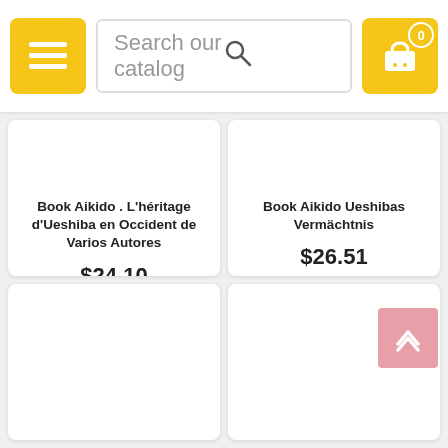Search our catalog
Book Aikido . L'héritage d'Ueshiba en Occident de Varios Autores
$24.10
BUY
Book Aikido Ueshibas Vermächtnis
$26.51
BUY